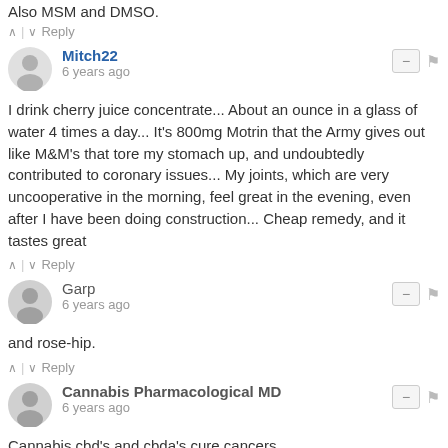Also MSM and DMSO.
^ | v Reply
Mitch22
6 years ago
I drink cherry juice concentrate... About an ounce in a glass of water 4 times a day... It's 800mg Motrin that the Army gives out like M&M's that tore my stomach up, and undoubtedly contributed to coronary issues... My joints, which are very uncooperative in the morning, feel great in the evening, even after I have been doing construction... Cheap remedy, and it tastes great
^ | v Reply
Garp
6 years ago
and rose-hip.
^ | v Reply
Cannabis Pharmacological MD
6 years ago
Cannabis cbd's and cbda's cure cancers.